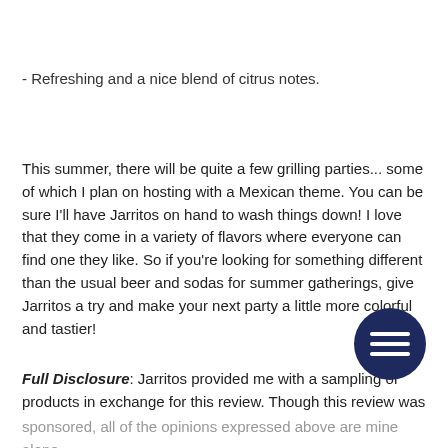- Refreshing and a nice blend of citrus notes.
This summer, there will be quite a few grilling parties... some of which I plan on hosting with a Mexican theme. You can be sure I'll have Jarritos on hand to wash things down! I love that they come in a variety of flavors where everyone can find one they like. So if you're looking for something different than the usual beer and sodas for summer gatherings, give Jarritos a try and make your next party a little more colorful and tastier!
Full Disclosure: Jarritos provided me with a sampling of products in exchange for this review. Though this review was sponsored, all of the opinions expressed above are mine alone.